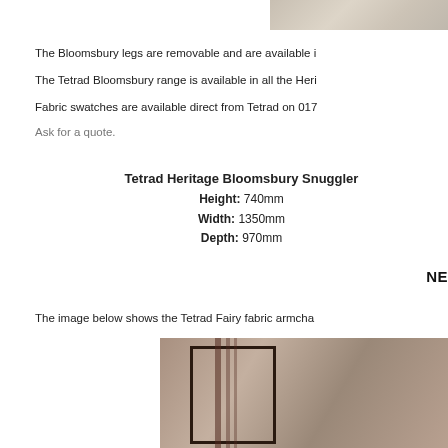[Figure (photo): Top portion of a fabric/upholstery image, light beige/taupe texture, cropped at top of page]
The Bloomsbury legs are removable and are available i…
The Tetrad Bloomsbury range is available in all the Heri…
Fabric swatches are available direct from Tetrad on 017…
Ask for a quote.
Tetrad Heritage Bloomsbury Snuggler
Height: 740mm
Width: 1350mm
Depth: 970mm
NE…
The image below shows the Tetrad Fairy fabric armchai…
[Figure (photo): Close-up photo of a striped fabric armchair, showing dark wooden frame panel with burgundy/brown stripes on taupe/beige fabric background]